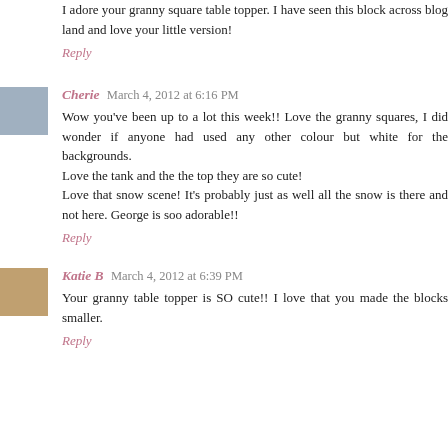I adore your granny square table topper. I have seen this block across blog land and love your little version!
Reply
Cherie  March 4, 2012 at 6:16 PM
Wow you've been up to a lot this week!! Love the granny squares, I did wonder if anyone had used any other colour but white for the backgrounds.
Love the tank and the the top they are so cute!
Love that snow scene! It's probably just as well all the snow is there and not here. George is soo adorable!!
Reply
Katie B  March 4, 2012 at 6:39 PM
Your granny table topper is SO cute!! I love that you made the blocks smaller.
Reply